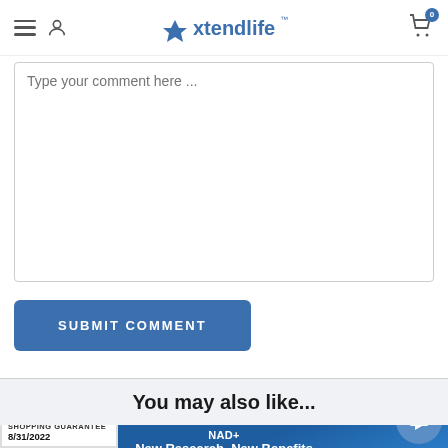Xtendlife
Type your comment here ...
SUBMIT COMMENT
You may also like...
[Figure (screenshot): NAD+ New Research, New Benefits banner with 'What We Knew' and 'What We've Learned' sections showing Healthy Aging and Immunity topics]
[Figure (logo): Norton Shopping Guarantee badge dated 8/31/2022]